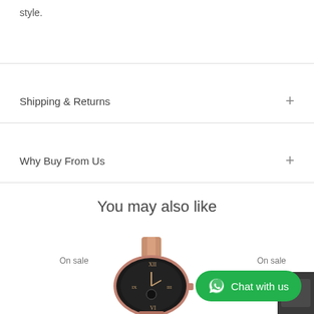style.
Shipping & Returns
Why Buy From Us
You may also like
On sale
On sale
[Figure (photo): Rose gold Michael Kors watch with dark face and Roman numerals, shown from above]
[Figure (photo): Partial dark-colored product visible at right edge]
[Figure (other): WhatsApp Chat with us green button with WhatsApp logo icon]